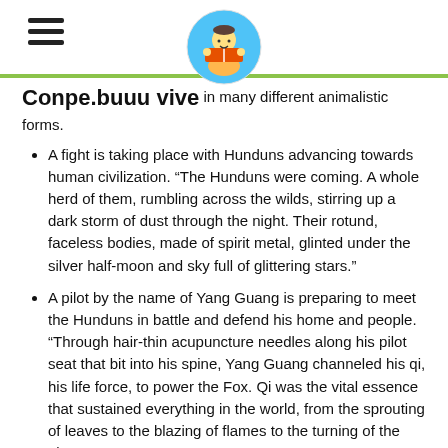[hamburger menu icon] [reading boy logo]
Conpe.buuu vive in many different animalistic forms.
A fight is taking place with Hunduns advancing towards human civilization. “The Hunduns were coming. A whole herd of them, rumbling across the wilds, stirring up a dark storm of dust through the night. Their rotund, faceless bodies, made of spirit metal, glinted under the silver half-moon and sky full of glittering stars.”
A pilot by the name of Yang Guang is preparing to meet the Hunduns in battle and defend his home and people. “Through hair-thin acupuncture needles along his pilot seat that bit into his spine, Yang Guang channeled his qi, his life force, to power the Fox. Qi was the vital essence that sustained everything in the world, from the sprouting of leaves to the blazing of flames to the turning of the planet.”
Spiritual Content